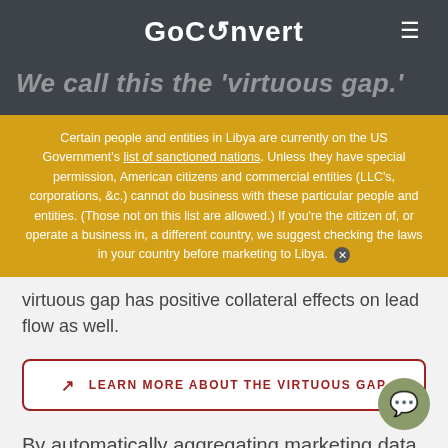GoConvert
We call this the 'virtuous gap.'
Certain people and entities in Libya are currently on the US Government's list of sanctioned nations. Unless they have special permission, American citizens and commercial entities (LLC's, corporations, &c.) cannot do business with these particular people and entities. (Those not on this list are allowed.) If you're the citizen of, or operate a business in, a different country, we suggest checking the laws in your country before marketing to Libya.
virtuous gap has positive collateral effects on lead flow as well.
LEARN MORE ABOUT THE VIRTUOUS GAP
By automatically aggregating marketing data, GoConvert helps customers build models like th whether they're marketing to audiences in China or